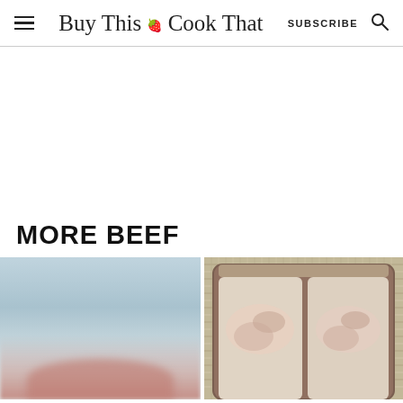Buy This Cook That | SUBSCRIBE
MORE BEEF
[Figure (photo): Two food images side by side: left is a blurred close-up of a piece of beef on a light blue/gray background; right is a packaged ground beef tray on a woven mat background.]